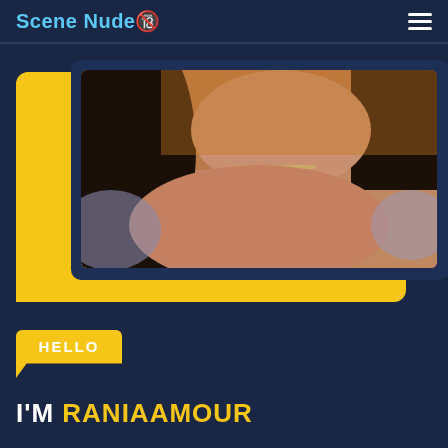Scene Nude🔞
[Figure (photo): Screenshot of a website card showing a photo of a person with dark hair wearing a necklace, set against a yellow speech-bubble styled card on a dark navy background.]
HELLO
I'M RANIAAMOUR